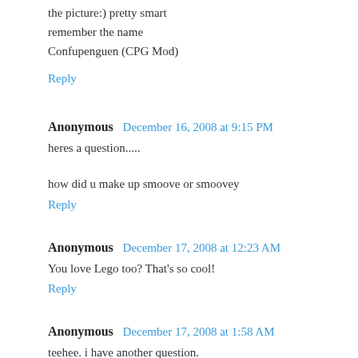the picture:) pretty smart
remember the name
Confupenguen (CPG Mod)
Reply
Anonymous  December 16, 2008 at 9:15 PM
heres a question.....

how did u make up smoove or smoovey
Reply
Anonymous  December 17, 2008 at 12:23 AM
You love Lego too? That's so cool!
Reply
Anonymous  December 17, 2008 at 1:58 AM
teehee. i have another question.